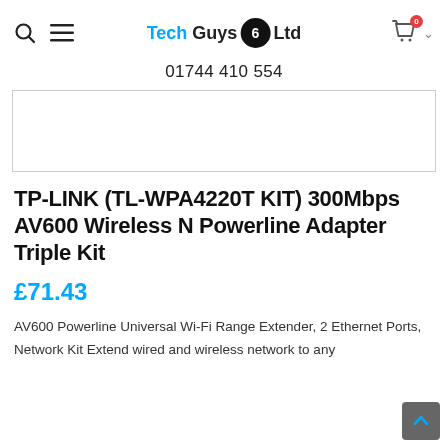Tech Guys Ltd — 01744 410 554
[Figure (photo): Product image placeholder area with light border]
TP-LINK (TL-WPA4220T KIT) 300Mbps AV600 Wireless N Powerline Adapter Triple Kit
£71.43
AV600 Powerline Universal Wi-Fi Range Extender, 2 Ethernet Ports, Network Kit Extend wired and wireless network to any